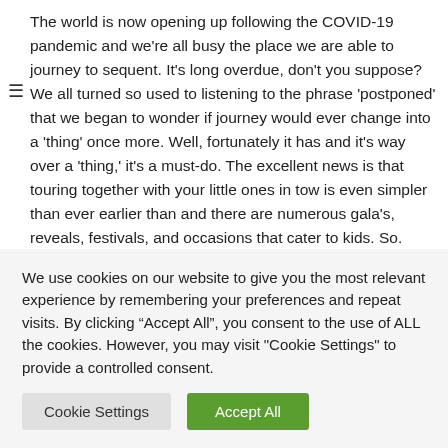The world is now opening up following the COVID-19 pandemic and we're all busy the place we are able to journey to sequent. It's long overdue, don't you suppose? We all turned so used to listening to the phrase 'postponed' that we began to wonder if journey would ever change into a 'thing' once more. Well, fortunately it has and it's way over a 'thing,' it's a must-do. The excellent news is that touring together with your little ones in tow is even simpler than ever earlier than and there are numerous gala's, reveals, festivals, and occasions that cater to kids. So. should you're caught
We use cookies on our website to give you the most relevant experience by remembering your preferences and repeat visits. By clicking "Accept All", you consent to the use of ALL the cookies. However, you may visit "Cookie Settings" to provide a controlled consent.